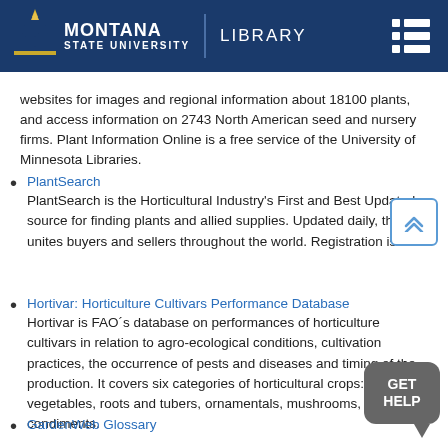[Figure (logo): Montana State University Library header logo with navy blue background, MSU logo with M and flame, and menu icon]
websites for images and regional information about 18100 plants, and access information on 2743 North American seed and nursery firms. Plant Information Online is a free service of the University of Minnesota Libraries.
PlantSearch
PlantSearch is the Horticultural Industry's First and Best Updated source for finding plants and allied supplies. Updated daily, this site unites buyers and sellers throughout the world. Registration is free.
Hortivar: Horticulture Cultivars Performance Database
Hortivar is FAO´s database on performances of horticulture cultivars in relation to agro-ecological conditions, cultivation practices, the occurrence of pests and diseases and timing of the production. It covers six categories of horticultural crops: fruits. vegetables, roots and tubers, ornamentals, mushrooms, and condiments.
GardenWeb Glossary